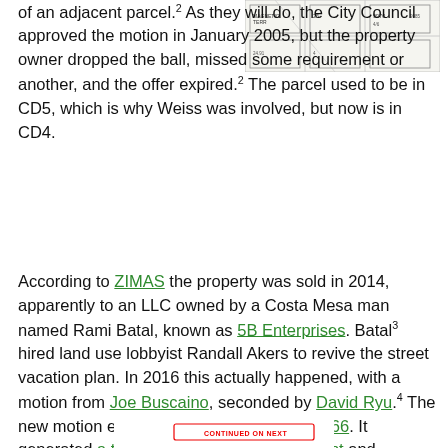[Figure (map): Partial cadastral/parcel map showing street intersections and lot numbers including Magnetic Terr and parcel numbers like 9970]
of an adjacent parcel.² As they will do, the City Council approved the motion in January 2005, but the property owner dropped the ball, missed some requirement or another, and the offer expired.² The parcel used to be in CD5, which is why Weiss was involved, but now is in CD4.
According to ZIMAS the property was sold in 2014, apparently to an LLC owned by a Costa Mesa man named Rami Batal, known as 5B Enterprises. Batal³ hired land use lobbyist Randall Akers to revive the street vacation plan. In 2016 this actually happened, with a motion from Joe Buscaino, seconded by David Ryu.⁴ The new motion ended up in Council File 16-0566. It generated a ton of opposing public comment and apparently more than one lawsuit, which explains why, on March 22, 2017, the Council voted to continue and file the motion.⁵
[Figure (other): Partial stamp or header graphic visible at bottom of page, partially cropped]